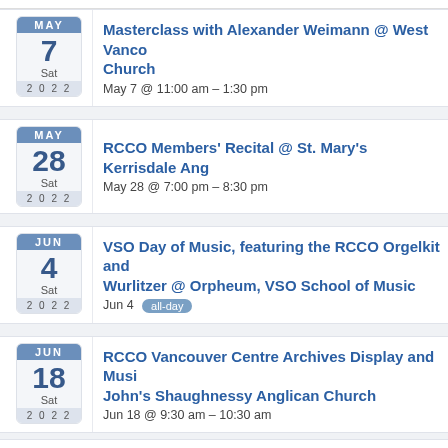Masterclass with Alexander Weimann @ West Vancouver Church
May 7 @ 11:00 am – 1:30 pm
RCCO Members' Recital @ St. Mary's Kerrisdale Ang
May 28 @ 7:00 pm – 8:30 pm
VSO Day of Music, featuring the RCCO Orgelkit and Wurlitzer @ Orpheum, VSO School of Music
Jun 4 all-day
RCCO Vancouver Centre Archives Display and Music John's Shaughnessy Anglican Church
Jun 18 @ 9:30 am – 10:30 am
RCCO Vancouver Centre Annual General Meeting @ Shaughnessy Anglican Church
Jun 18 @ 10:30 am – 12:00 pm